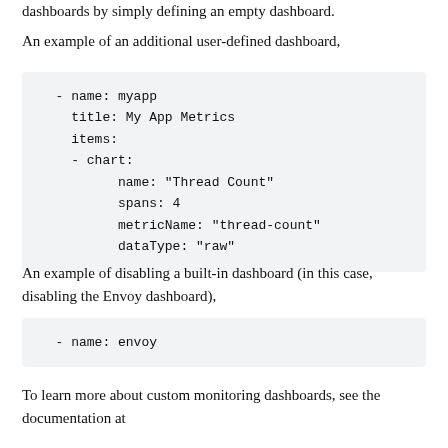dashboards by simply defining an empty dashboard.
An example of an additional user-defined dashboard,
- name: myapp
  title: My App Metrics
  items:
  - chart:
        name: "Thread Count"
        spans: 4
        metricName: "thread-count"
        dataType: "raw"
An example of disabling a built-in dashboard (in this case, disabling the Envoy dashboard),
- name: envoy
To learn more about custom monitoring dashboards, see the documentation at